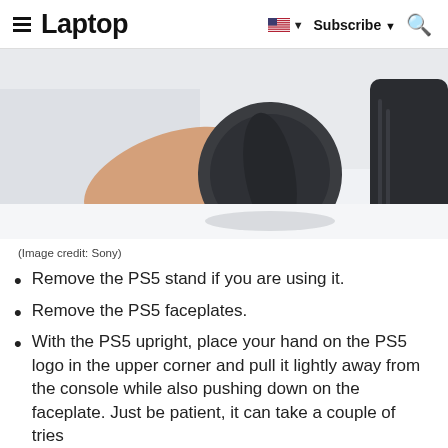Laptop — Subscribe — Search
[Figure (photo): A person's hand holding/removing a dark circular PS5 component (stand or faceplate) from a PS5 console, white background]
(Image credit: Sony)
Remove the PS5 stand if you are using it.
Remove the PS5 faceplates.
With the PS5 upright, place your hand on the PS5 logo in the upper corner and pull it lightly away from the console while also pushing down on the faceplate. Just be patient, it can take a couple of tries